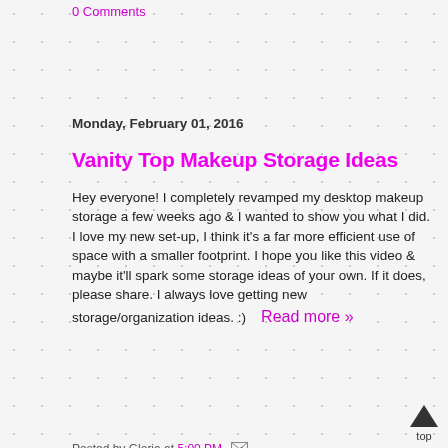0 Comments
Monday, February 01, 2016
Vanity Top Makeup Storage Ideas
Hey everyone! I completely revamped my desktop makeup storage a few weeks ago & I wanted to show you what I did. I love my new set-up, I think it's a far more efficient use of space with a smaller footprint. I hope you like this video & maybe it'll spark some storage ideas of your own. If it does, please share. I always love getting new storage/organization ideas. :)   Read more »
Posted by Gloria at 5:00 PM
Labels: beauty, cosmetics, makeup, makeup storage, youtube
2 Comments
Monday, January 25, 2016
2015 Beauty Favorites
Shockingly enough, this video is considerably shorter